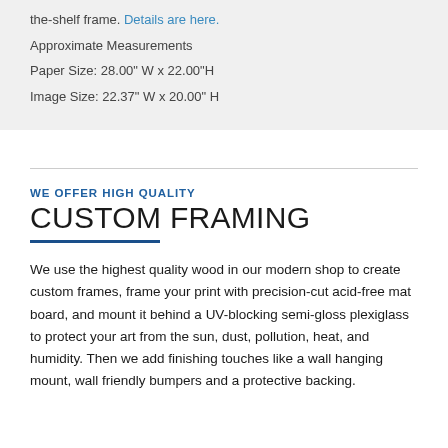the-shelf frame. Details are here.
Approximate Measurements
Paper Size: 28.00" W x 22.00"H
Image Size: 22.37" W x 20.00" H
WE OFFER HIGH QUALITY
CUSTOM FRAMING
We use the highest quality wood in our modern shop to create custom frames, frame your print with precision-cut acid-free mat board, and mount it behind a UV-blocking semi-gloss plexiglass to protect your art from the sun, dust, pollution, heat, and humidity. Then we add finishing touches like a wall hanging mount, wall friendly bumpers and a protective backing.